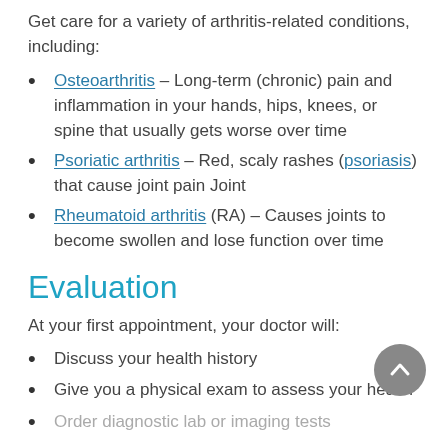Get care for a variety of arthritis-related conditions, including:
Osteoarthritis – Long-term (chronic) pain and inflammation in your hands, hips, knees, or spine that usually gets worse over time
Psoriatic arthritis – Red, scaly rashes (psoriasis) that cause joint pain Joint
Rheumatoid arthritis (RA) – Causes joints to become swollen and lose function over time
Evaluation
At your first appointment, your doctor will:
Discuss your health history
Give you a physical exam to assess your health
Order diagnostic lab or imaging tests